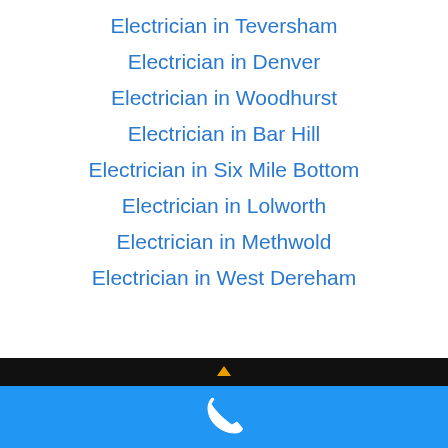Electrician in Teversham
Electrician in Denver
Electrician in Woodhurst
Electrician in Bar Hill
Electrician in Six Mile Bottom
Electrician in Lolworth
Electrician in Methwold
Electrician in West Dereham
[Figure (screenshot): Black navigation bar with small orange triangle/arrow icon, followed by a blue call-to-action bar with a white phone icon]